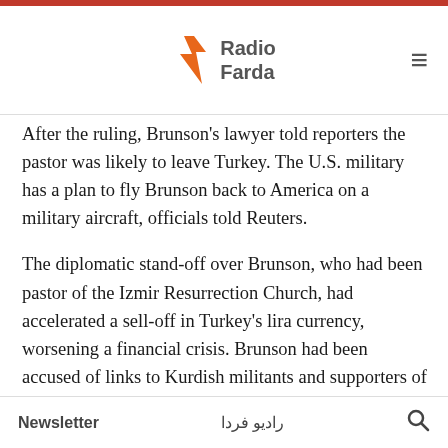[Figure (logo): Radio Farda logo with orange bird/lightning bolt icon and text 'Radio Farda']
After the ruling, Brunson's lawyer told reporters the pastor was likely to leave Turkey. The U.S. military has a plan to fly Brunson back to America on a military aircraft, officials told Reuters.
The diplomatic stand-off over Brunson, who had been pastor of the Izmir Resurrection Church, had accelerated a sell-off in Turkey's lira currency, worsening a financial crisis. Brunson had been accused of links to Kurdish militants and supporters of Fethullah Gulen, the cleric blamed by Turkey for a coup attempt in 2016.
Newsletter   رادیو فردا   🔍